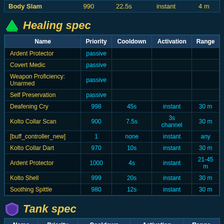| Name | Priority | Cooldown | Activation | Range |
| --- | --- | --- | --- | --- |
| Body Slam | 990 | 22.5s | instant | 4 m |
Healing spec
| Name | Priority | Cooldown | Activation | Range |
| --- | --- | --- | --- | --- |
| Ardent Protector | passive |  |  |  |
| Covert Medic | passive |  |  |  |
| Weapon Proficiency: Unarmed | passive |  |  |  |
| Self Preservation | passive |  |  |  |
| Deafening Cry | 998 | 45s | instant | 30 m |
| Kolto Collar Scan | 900 | 7.5s | 3s channel | 30 m |
| [buff_controller_new] | 1 | none | instant | any |
| Kolto Collar Dart | 970 | 10s | instant | 30 m |
| Ardent Protector | 1000 | 4s | instant | 21-45 m |
| Kolto Shell | 999 | 20s | instant | 30 m |
| Soothing Spittle | 980 | 12s | instant | 30 m |
Tank spec
| Name | Priority | Cooldown | Activation | Range |
| --- | --- | --- | --- | --- |